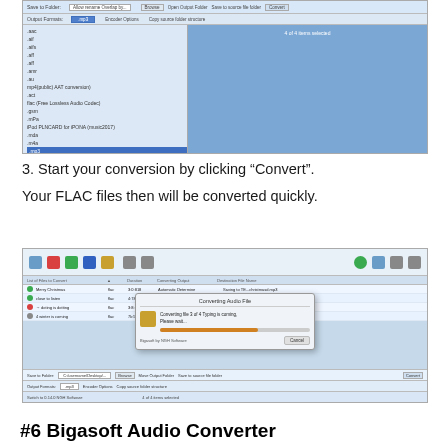[Figure (screenshot): Screenshot of Bigasoft Audio Converter showing output format dropdown menu with mp3 selected highlighted in blue, and a blue panel on the right showing file selection status]
3. Start your conversion by clicking “Convert”.

Your FLAC files then will be converted quickly.
[Figure (screenshot): Screenshot of Bigasoft Audio Converter showing file conversion in progress with a dialog box titled 'Converting Audio File' showing a progress bar and Cancel button, with file list showing MerryChristmas, close to listen, doting is dotting, and winter is coming]
#6 Bigasoft Audio Converter